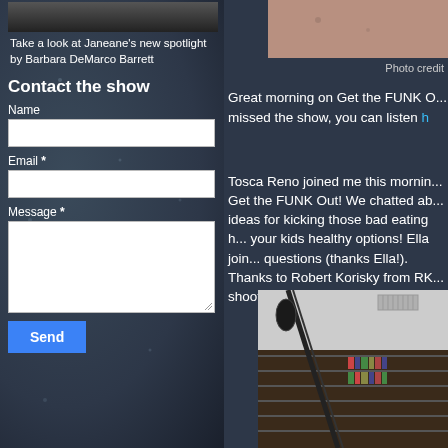[Figure (photo): Partial top image on left side (dark, cropped)]
Take a look at Janeane's new spotlight by Barbara DeMarco Barrett
Contact the show
Name
Email *
Message *
Send
[Figure (photo): Top right partial photo (skin-toned, cropped)]
Photo credit
Great morning on Get the FUNK O... missed the show, you can listen h...
Tosca Reno joined me this morning on Get the FUNK Out! We chatted about ideas for kicking those bad eating habits, your kids healthy options! Ella joined with questions (thanks Ella!). Thanks to Robert Korisky from RK... shooting some pictures for the sho...
[Figure (photo): Bottom right photo showing a room with bookshelves/CD racks and microphone stand]